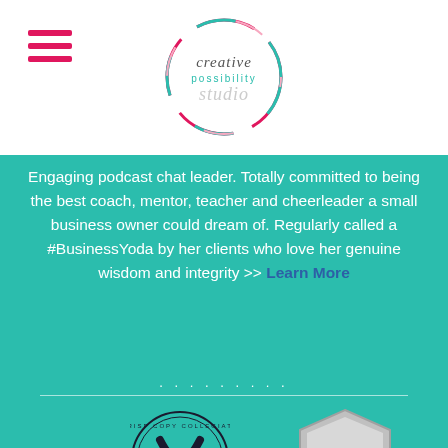[Figure (logo): Creative Possibility logo inside a circle with colorful border]
Engaging podcast chat leader. Totally committed to being the best coach, mentor, teacher and cheerleader a small business owner could dream of. Regularly called a #BusinessYoda by her clients who love her genuine wisdom and integrity >> Learn More
[Figure (logo): Crisp Copy Collegiate badge/seal at bottom left]
[Figure (logo): Stirling Business Awards badge at bottom right]